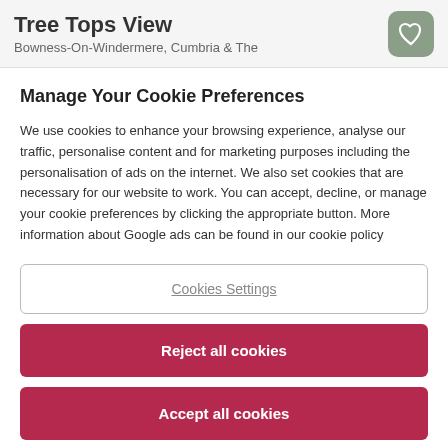Tree Tops View
Bowness-On-Windermere, Cumbria & The
Manage Your Cookie Preferences
We use cookies to enhance your browsing experience, analyse our traffic, personalise content and for marketing purposes including the personalisation of ads on the internet. We also set cookies that are necessary for our website to work. You can accept, decline, or manage your cookie preferences by clicking the appropriate button. More information about Google ads can be found in our cookie policy
Cookies Settings
Reject all cookies
Accept all cookies